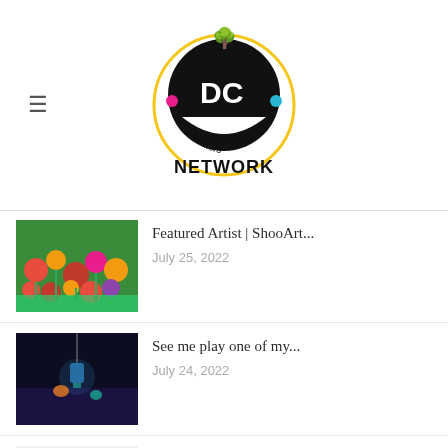DC Creators Network
Featured Artist | ShooArt...
July 25, 2022
See me play one of my...
July 24, 2022
Vendors needed at Arlington County Fair...
July 19, 2022
Finished Wallace & Gromit this week!
July 17, 2022